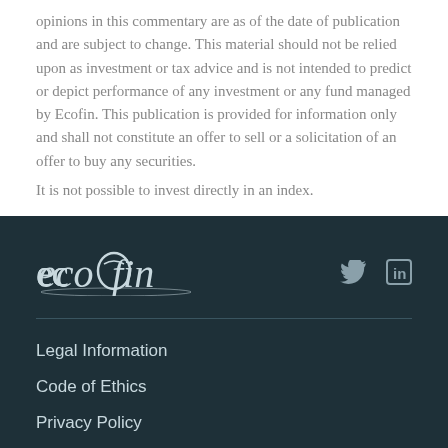opinions in this commentary are as of the date of publication and are subject to change. This material should not be relied upon as investment or tax advice and is not intended to predict or depict performance of any investment or any fund managed by Ecofin. This publication is provided for information only and shall not constitute an offer to sell or a solicitation of an offer to buy any securities.
It is not possible to invest directly in an index.
[Figure (logo): Ecofin logo in white/light text on dark teal background]
Legal Information
Code of Ethics
Privacy Policy
Careers